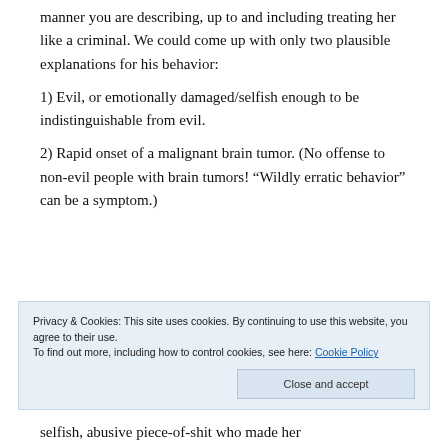manner you are describing, up to and including treating her like a criminal. We could come up with only two plausible explanations for his behavior:
1) Evil, or emotionally damaged/selfish enough to be indistinguishable from evil.
2) Rapid onset of a malignant brain tumor. (No offense to non-evil people with brain tumors! “Wildly erratic behavior” can be a symptom.)
Privacy & Cookies: This site uses cookies. By continuing to use this website, you agree to their use.
To find out more, including how to control cookies, see here: Cookie Policy
selfish, abusive piece-of-shit who made her